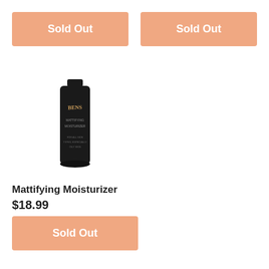[Figure (other): Sold Out button (top-left), peach/salmon colored rectangular button with white bold text 'Sold Out']
[Figure (other): Sold Out button (top-right), peach/salmon colored rectangular button with white bold text 'Sold Out']
[Figure (photo): Black tube product container with gold/copper text 'BENS' branding - Mattifying Moisturizer product]
Mattifying Moisturizer
$18.99
[Figure (other): Sold Out button (bottom), peach/salmon colored rectangular button with white bold text 'Sold Out']